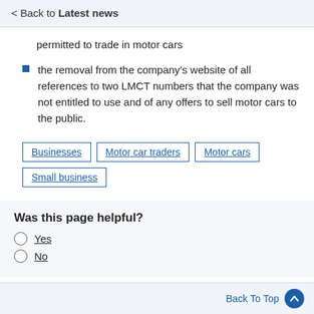< Back to Latest news
permitted to trade in motor cars
the removal from the company's website of all references to two LMCT numbers that the company was not entitled to use and of any offers to sell motor cars to the public.
Businesses | Motor car traders | Motor cars | Small business
Was this page helpful?
Yes
No
Back To Top